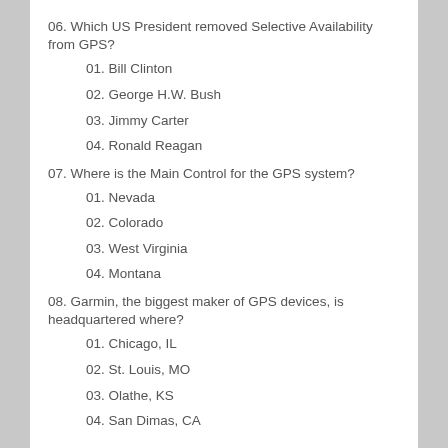06. Which US President removed Selective Availability from GPS?
01. Bill Clinton
02. George H.W. Bush
03. Jimmy Carter
04. Ronald Reagan
07. Where is the Main Control for the GPS system?
01. Nevada
02. Colorado
03. West Virginia
04. Montana
08. Garmin, the biggest maker of GPS devices, is headquartered where?
01. Chicago, IL
02. St. Louis, MO
03. Olathe, KS
04. San Dimas, CA